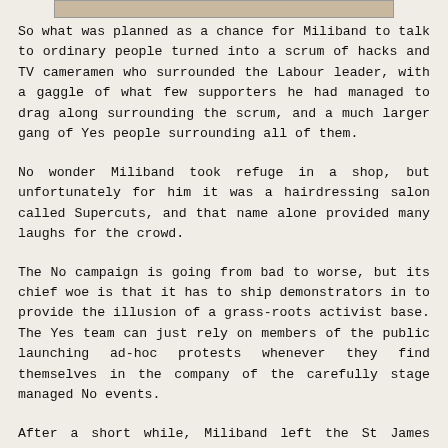[Figure (photo): Partial image strip at the top of the page, cropped photograph]
So what was planned as a chance for Miliband to talk to ordinary people turned into a scrum of hacks and TV cameramen who surrounded the Labour leader, with a gaggle of what few supporters he had managed to drag along surrounding the scrum, and a much larger gang of Yes people surrounding all of them.
No wonder Miliband took refuge in a shop, but unfortunately for him it was a hairdressing salon called Supercuts, and that name alone provided many laughs for the crowd.
The No campaign is going from bad to worse, but its chief woe is that it has to ship demonstrators in to provide the illusion of a grass-roots activist base. The Yes team can just rely on members of the public launching ad-hoc protests whenever they find themselves in the company of the carefully stage managed No events.
After a short while, Miliband left the St James Centre, his people were loaded into vans to be driven off to the next